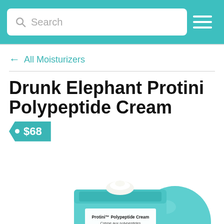Search  [hamburger menu]
← All Moisturizers
Drunk Elephant Protini Polypeptide Cream
$68
[Figure (photo): Product photo of Drunk Elephant Protini Polypeptide Cream jar in teal/mint color, open lid showing white cream inside and lid leaning to the right. Label reads: Protini™ Polypeptide Cream, Crème aux polypeptides, STRENGTHEN + MOISTURIZE, 8 Signal Peptides, Pygmy Waterlily.]